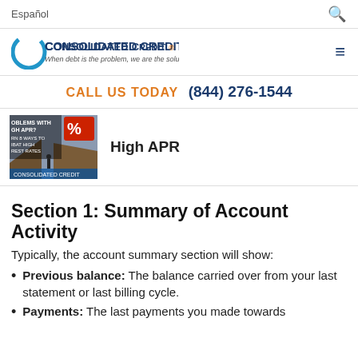Español
[Figure (logo): Consolidated Credit logo with tagline 'When debt is the problem, we are the solution.']
CALL US TODAY  (844) 276-1544
[Figure (photo): Article thumbnail image with text 'PROBLEMS WITH HIGH APR? LEARN 8 WAYS TO COMBAT HIGH INTEREST RATES - Consolidated Credit']
High APR
Section 1: Summary of Account Activity
Typically, the account summary section will show:
Previous balance: The balance carried over from your last statement or last billing cycle.
Payments: The last payments you made towards